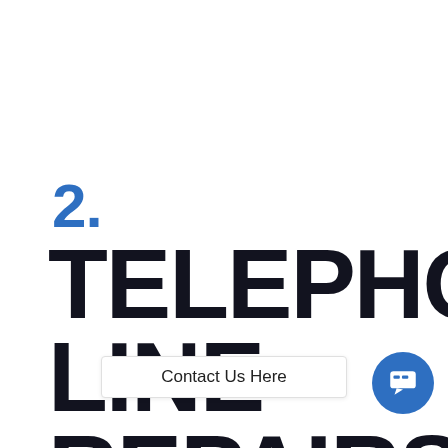2.
TELEPHONE LINE REPAIRS IN WARMING
Contact Us Here